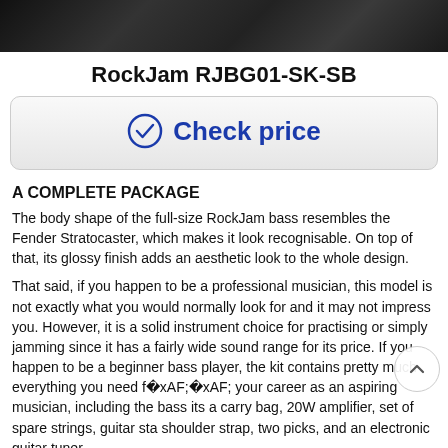[Figure (photo): Dark wood grain background image at the top of the page]
RockJam RJBG01-SK-SB
[Figure (other): Check price button with checkmark icon in blue]
A COMPLETE PACKAGE
The body shape of the full-size RockJam bass resembles the Fender Stratocaster, which makes it look recognisable. On top of that, its glossy finish adds an aesthetic look to the whole design.
That said, if you happen to be a professional musician, this model is not exactly what you would normally look for and it may not impress you. However, it is a solid instrument choice for practising or simply jamming since it has a fairly wide sound range for its price. If you happen to be a beginner bass player, the kit contains pretty much everything you need for your career as an aspiring musician, including the bass its a carry bag, 20W amplifier, set of spare strings, guitar sta shoulder strap, two picks, and an electronic guitar tuner.
What is more, the 20W combo amp features a 3 band equaliser and a headphone jack in case you don't want to